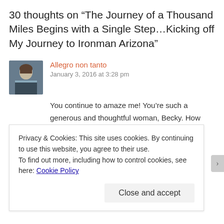30 thoughts on “The Journey of a Thousand Miles Begins with a Single Step…Kicking off My Journey to Ironman Arizona”
Allegro non tanto
January 3, 2016 at 3:28 pm
You continue to amaze me! You’re such a generous and thoughtful woman, Becky. How wonderful that you’ll be directly responsible for changing the lives of so many children. I’m donating right now!
Privacy & Cookies: This site uses cookies. By continuing to use this website, you agree to their use.
To find out more, including how to control cookies, see here: Cookie Policy
Close and accept